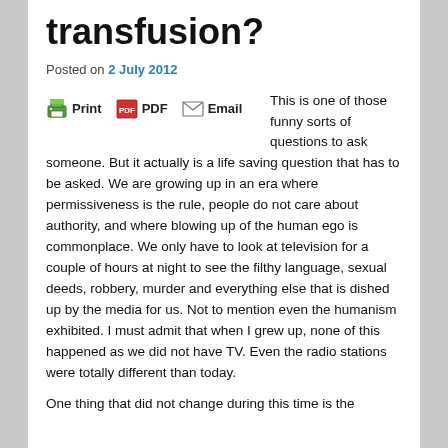transfusion?
Posted on 2 July 2012
[Figure (other): Share icons: Print, PDF, Email buttons with icons]
This is one of those funny sorts of questions to ask someone. But it actually is a life saving question that has to be asked. We are growing up in an era where permissiveness is the rule, people do not care about authority, and where blowing up of the human ego is commonplace. We only have to look at television for a couple of hours at night to see the filthy language, sexual deeds, robbery, murder and everything else that is dished up by the media for us. Not to mention even the humanism exhibited. I must admit that when I grew up, none of this happened as we did not have TV. Even the radio stations were totally different than today.
One thing that did not change during this time is the